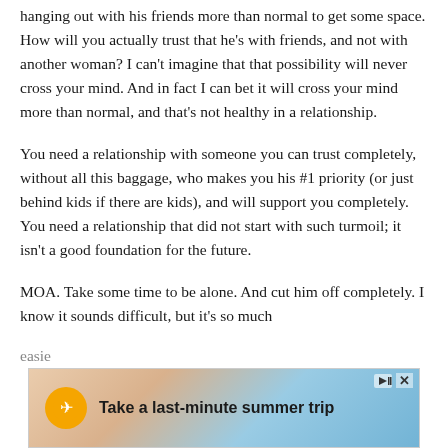hanging out with his friends more than normal to get some space. How will you actually trust that he's with friends, and not with another woman? I can't imagine that that possibility will never cross your mind. And in fact I can bet it will cross your mind more than normal, and that's not healthy in a relationship.
You need a relationship with someone you can trust completely, without all this baggage, who makes you his #1 priority (or just behind kids if there are kids), and will support you completely. You need a relationship that did not start with such turmoil; it isn't a good foundation for the future.
MOA. Take some time to be alone. And cut him off completely. I know it sounds difficult, but it's so much easier...
[Figure (other): Advertisement banner: 'Take a last-minute summer trip' with an orange circular icon containing a plane symbol, displayed over a summer beach background image with people on floaties.]